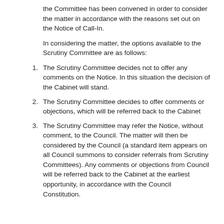the Committee has been convened in order to consider the matter in accordance with the reasons set out on the Notice of Call-In.
In considering the matter, the options available to the Scrutiny Committee are as follows:
1. The Scrutiny Committee decides not to offer any comments on the Notice. In this situation the decision of the Cabinet will stand.
2. The Scrutiny Committee decides to offer comments or objections, which will be referred back to the Cabinet
3. The Scrutiny Committee may refer the Notice, without comment, to the Council. The matter will then be considered by the Council (a standard item appears on all Council summons to consider referrals from Scrutiny Committees). Any comments or objections from Council will be referred back to the Cabinet at the earliest opportunity, in accordance with the Council Constitution.